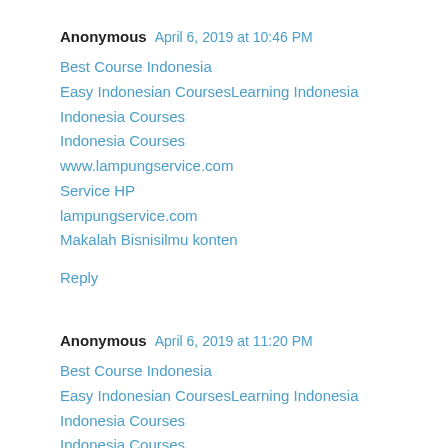Anonymous April 6, 2019 at 10:46 PM
Best Course Indonesia
Easy Indonesian CoursesLearning Indonesia
Indonesia Courses
Indonesia Courses
www.lampungservice.com
Service HP
lampungservice.com
Makalah Bisnisilmu konten
Reply
Anonymous April 6, 2019 at 11:20 PM
Best Course Indonesia
Easy Indonesian CoursesLearning Indonesia
Indonesia Courses
Indonesia Courses
www.lampungservice.com
Service HP